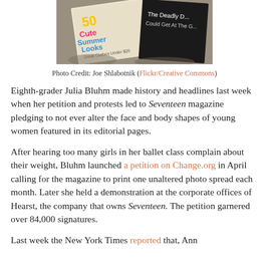[Figure (photo): Photograph of Seventeen magazine covers showing teen fashion headlines, placed on rocky surface]
Photo Credit: Joe Shlabotnik (Flickr/Creative Commons)
Eighth-grader Julia Bluhm made history and headlines last week when her petition and protests led to Seventeen magazine pledging to not ever alter the face and body shapes of young women featured in its editorial pages.
After hearing too many girls in her ballet class complain about their weight, Bluhm launched a petition on Change.org in April calling for the magazine to print one unaltered photo spread each month. Later she held a demonstration at the corporate offices of Hearst, the company that owns Seventeen. The petition garnered over 84,000 signatures.
Last week the New York Times reported that, Ann